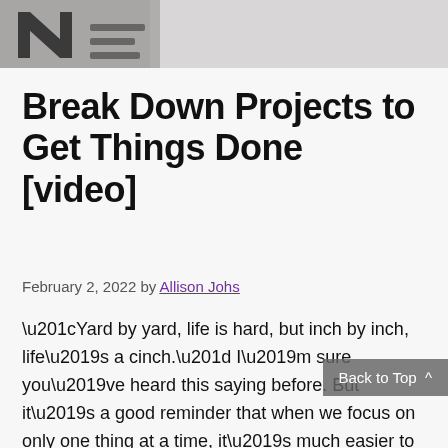[Figure (photo): Cropped photo showing a notepad or sign with the letter N and horizontal lines, in grayscale, serving as a decorative header image.]
Break Down Projects to Get Things Done [video]
February 2, 2022 by Allison Johs
“Yard by yard, life is hard, but inch by inch, life’s a cinch.” I’m sure you’ve heard this saying before. But it’s a good reminder that when we focus on only one thing at a time, it’s much easier to see our progress and to stay motivated to keep going. Watch this short video or …